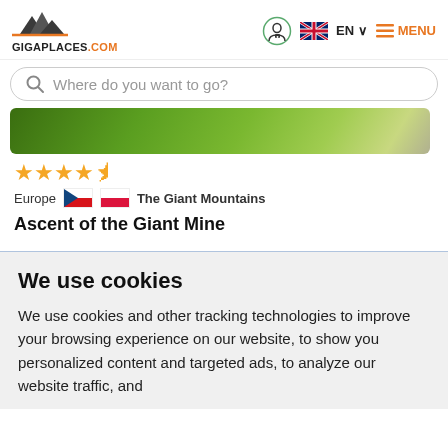[Figure (logo): GigaPlaces.com logo with mountain peaks icon]
[Figure (screenshot): User account icon (person with lock), UK flag, EN language selector, and hamburger menu labeled MENU in orange]
Where do you want to go?
[Figure (photo): Green grassy mountain landscape hero image banner]
[Figure (other): 4.5 orange stars rating]
Europe  The Giant Mountains
Ascent of the Giant Mine
We use cookies
We use cookies and other tracking technologies to improve your browsing experience on our website, to show you personalized content and targeted ads, to analyze our website traffic, and